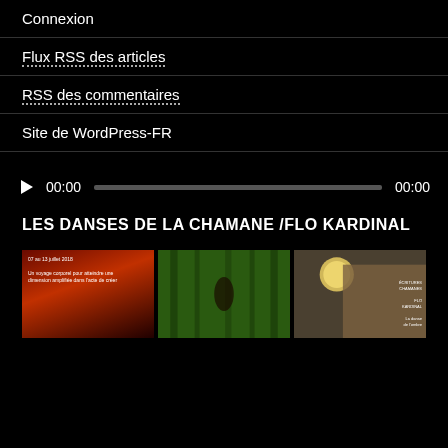Connexion
Flux RSS des articles
RSS des commentaires
Site de WordPress-FR
[Figure (other): Audio player widget with play button, time display 00:00, progress bar, and end time 00:00]
LES DANSES DE LA CHAMANE /FLO KARDINAL
[Figure (photo): Three thumbnail images in a row: 1) Red-toned photo of a figure with French text overlay about a voyage corporel; 2) Forest/nature photo with a figure among trees; 3) Wolf and moon photo with text overlay]